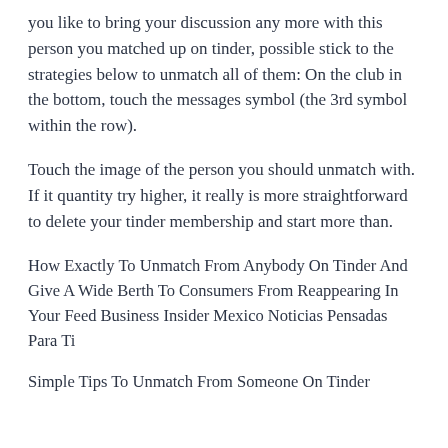you like to bring your discussion any more with this person you matched up on tinder, possible stick to the strategies below to unmatch all of them: On the club in the bottom, touch the messages symbol (the 3rd symbol within the row).
Touch the image of the person you should unmatch with. If it quantity try higher, it really is more straightforward to delete your tinder membership and start more than.
How Exactly To Unmatch From Anybody On Tinder And Give A Wide Berth To Consumers From Reappearing In Your Feed Business Insider Mexico Noticias Pensadas Para Ti
Simple Tips To Unmatch From Someone On Tinder